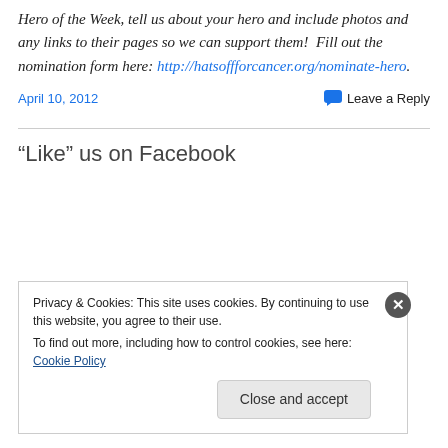Hero of the Week, tell us about your hero and include photos and any links to their pages so we can support them!  Fill out the nomination form here: http://hatsoffforcancer.org/nominate-hero.
April 10, 2012   Leave a Reply
“Like” us on Facebook
Privacy & Cookies: This site uses cookies. By continuing to use this website, you agree to their use.
To find out more, including how to control cookies, see here: Cookie Policy
Close and accept